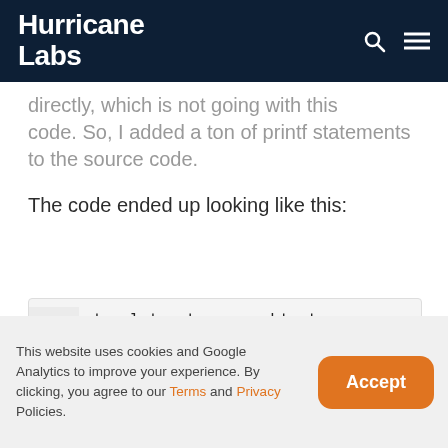Hurricane Labs
...directly, which is not going with this code. So, I added a ton of printf statements to the source code.
The code ended up looking like this:
[Figure (screenshot): Code block showing C++ template declaration: line 1: template <typename ht, typename LEXX, typename ord_mask_t>]
This website uses cookies and Google Analytics to improve your experience. By clicking, you agree to our Terms and Privacy Policies.